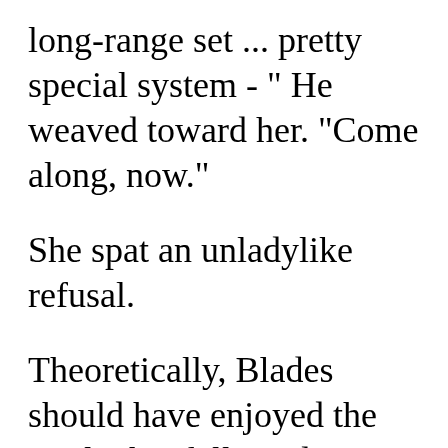long-range set ... pretty special system - " He weaved toward her. "Come along, now."
She spat an unladylike refusal.
Theoretically, Blades should have enjoyed the tussle that followed. But he was in poor shape at the outset. And he